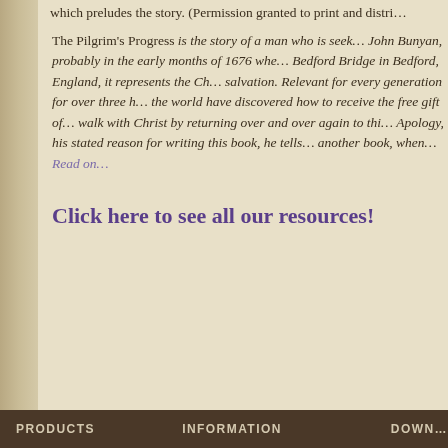which preludes the story. (Permission granted to print and distr…
The Pilgrim's Progress is the story of a man who is seek… John Bunyan, probably in the early months of 1676 whe… Bedford Bridge in Bedford, England, it represents the Ch… salvation. Relevant for every generation for over three h… the world have discovered how to receive the free gift of… walk with Christ by returning over and over again to thi… Apology, his stated reason for writing this book, he tells… another book, when… Read on…
Click here to see all our resources!
PRODUCTS    INFORMATION    DOWN…